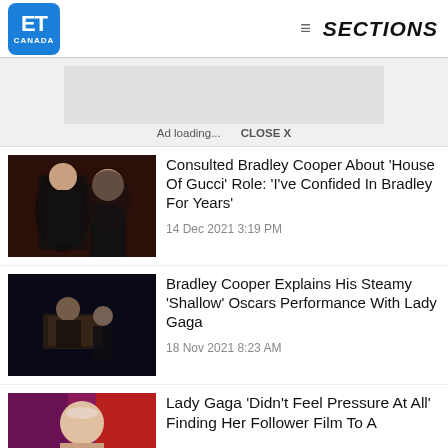ET CANADA  ≡ SECTIONS
[Figure (screenshot): ET Canada website screenshot showing news articles about Lady Gaga and Bradley Cooper]
Ad loading...  CLOSE X
Consulted Bradley Cooper About 'House Of Gucci' Role: 'I've Confided In Bradley For Years'
14 Dec 2021 3:19 PM
Bradley Cooper Explains His Steamy 'Shallow' Oscars Performance With Lady Gaga
18 Nov 2021 8:23 AM
Lady Gaga 'Didn't Feel Pressure At All' Finding Her Follower Film To A